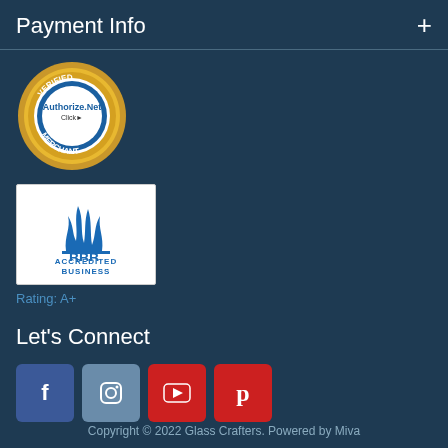Payment Info
[Figure (logo): Authorize.Net Verified Merchant seal — gold circular badge with blue Authorize.Net text and 'Click' in center]
[Figure (logo): BBB Accredited Business logo — white card with blue BBB flame logo and 'BBB. ACCREDITED BUSINESS' text]
Rating: A+
Let's Connect
[Figure (infographic): Social media icon buttons: Facebook (f), Instagram (camera), YouTube (play), Pinterest (p)]
Copyright © 2022 Glass Crafters. Powered by Miva